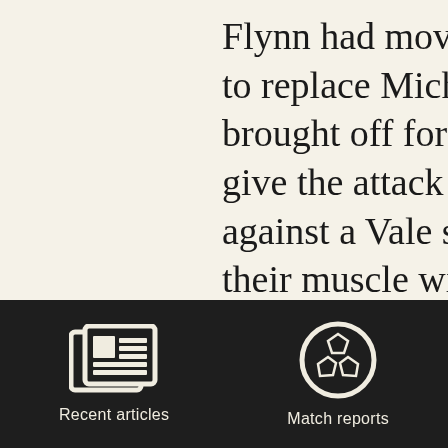Flynn had moved to th... to replace Michael Bou... brought off for Chris F... give the attack more st... against a Vale side who... their muscle with Wes... Yorkshireman Anthon... coming on.

Griffith seems to be a p... without any footballin...
[Figure (screenshot): Dark navigation bar with two icons: a newspaper icon labeled 'Recent articles' and a soccer ball icon labeled 'Match reports']